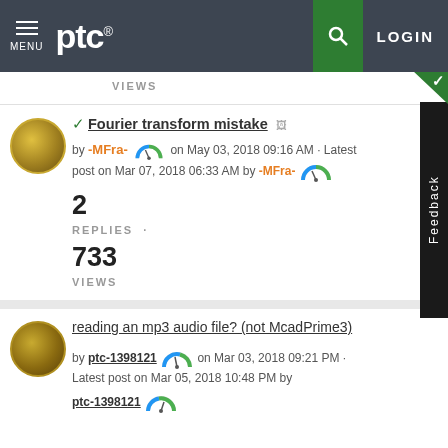MENU | ptc | LOGIN
VIEWS
✓ Fourier transform mistake
by -MFra- on May 03, 2018 09:16 AM · Latest post on Mar 07, 2018 06:33 AM by -MFra-
2
REPLIES
733
VIEWS
reading an mp3 audio file? (not McadPrime3)
by ptc-1398121 on Mar 03, 2018 09:21 PM · Latest post on Mar 05, 2018 10:48 PM by ptc-1398121